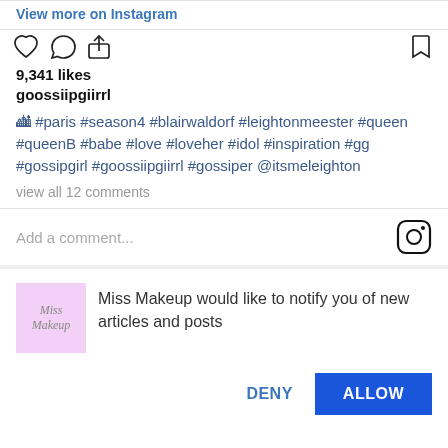View more on Instagram
9,341 likes
goossiipgiirrl
🏙 #paris #season4 #blairwaldorf #leightonmeester #queen #queenB #babe #love #loveher #idol #inspiration #gg #gossipgirl #goossiipgiirrl #gossiper @itsmeleighton
view all 12 comments
Add a comment...
Miss Makeup would like to notify you of new articles and posts
DENY
ALLOW